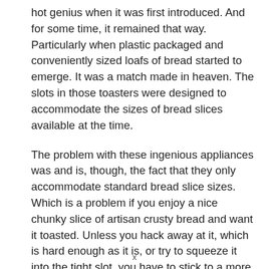hot genius when it was first introduced. And for some time, it remained that way. Particularly when plastic packaged and conveniently sized loafs of bread started to emerge. It was a match made in heaven. The slots in those toasters were designed to accommodate the sizes of bread slices available at the time.
The problem with these ingenious appliances was and is, though, the fact that they only accommodate standard bread slice sizes. Which is a problem if you enjoy a nice chunky slice of artisan crusty bread and want it toasted. Unless you hack away at it, which is hard enough as it is, or try to squeeze it into the tight slot, you have to stick to a more traditional grill and those
x